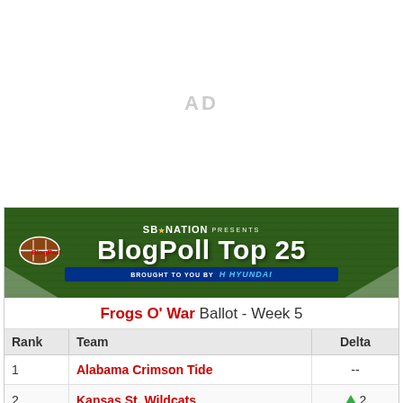AD
[Figure (illustration): SB Nation presents BlogPoll Top 25 banner with football graphic and Hyundai sponsorship logo on green grass background]
Frogs O' War Ballot - Week 5
| Rank | Team | Delta |
| --- | --- | --- |
| 1 | Alabama Crimson Tide | -- |
| 2 | Kansas St. Wildcats | ▲ 2 |
| 3 | Florida St. Seminoles | -- |